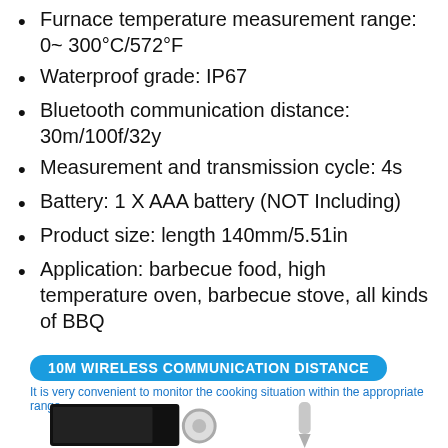Furnace temperature measurement range: 0~ 300°C/572°F
Waterproof grade: IP67
Bluetooth communication distance: 30m/100f/32y
Measurement and transmission cycle: 4s
Battery: 1 X AAA battery (NOT Including)
Product size: length 140mm/5.51in
Application: barbecue food, high temperature oven, barbecue stove, all kinds of BBQ
10M WIRELESS COMMUNICATION DISTANCE
It is very convenient to monitor the cooking situation within the appropriate range
[Figure (photo): Photo showing a phone/display device and a probe thermometer illustrating wireless communication]